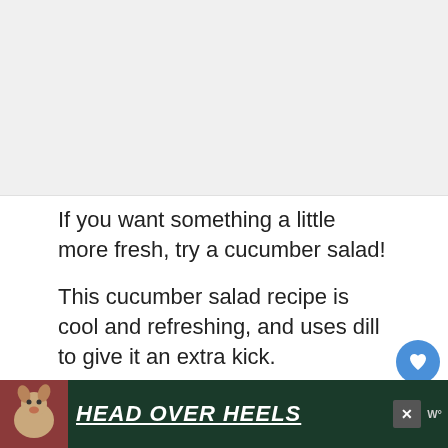[Figure (photo): Placeholder image area at top of article page, light gray background]
If you want something a little more fresh, try a cucumber salad!
This cucumber salad recipe is cool and refreshing, and uses dill to give it an extra kick.
This is a great option if you're serving s… e, if
[Figure (infographic): Advertisement banner at bottom: dark green background with dog image and text 'HEAD OVER HEELS' in white bold italic underlined text. Close button (X) visible. Advertiser logo 'W' visible at right.]